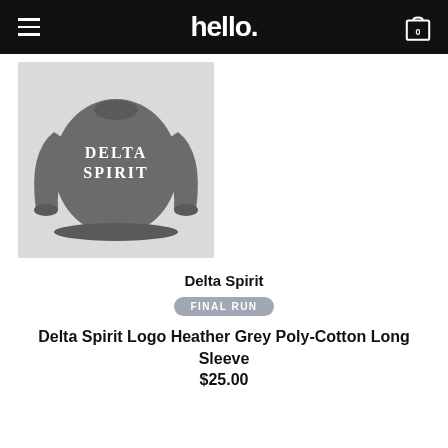hello.
[Figure (photo): Grey heather long sleeve sweatshirt with 'DELTA SPIRIT' printed in white bold letters on the back/front, displayed on a light background.]
Delta Spirit
FINAL RUN
Delta Spirit Logo Heather Grey Poly-Cotton Long Sleeve $25.00